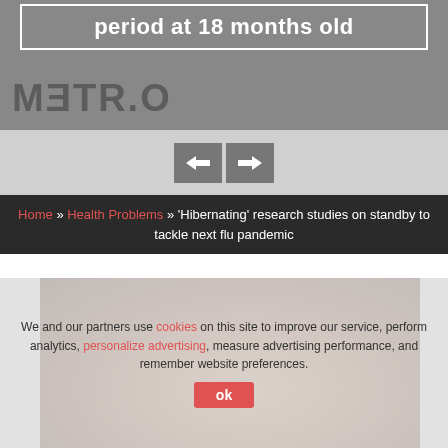period at 18 months old
[Figure (photo): Image with reversed METRO text visible, grey/dark background, top section of a news article slideshow]
[Figure (infographic): Navigation arrows (left and right) on grey background for slideshow navigation]
Home » Health Problems » 'Hibernating' research studies on standby to tackle next flu pandemic
[Figure (photo): Photo of a sick woman with orange scarf holding a teddy bear, partially obscured by cookie consent overlay]
We and our partners use cookies on this site to improve our service, perform analytics, personalize advertising, measure advertising performance, and remember website preferences.
ok